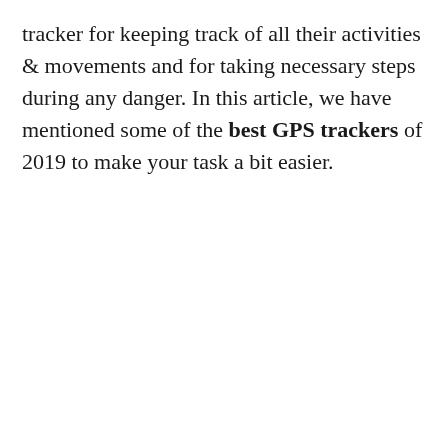tracker for keeping track of all their activities & movements and for taking necessary steps during any danger. In this article, we have mentioned some of the best GPS trackers of 2019 to make your task a bit easier.